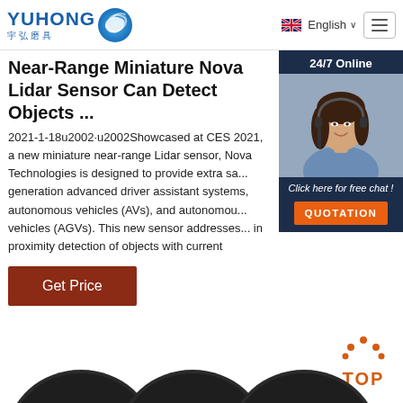[Figure (logo): Yuhong logo with blue wave icon and Chinese characters 宇弘磨具]
[Figure (screenshot): British flag icon with English language selector and dropdown chevron]
[Figure (screenshot): Hamburger menu icon in a rounded rectangle border]
Near-Range Miniature Nova Lidar Sensor Can Detect Objects ...
[Figure (photo): 24/7 Online chat widget with photo of smiling woman with headset, dark navy background, click here for free chat text, and orange QUOTATION button]
2021-1-18u2002·u2002Showcased at CES 2021, a new miniature near-range Lidar sensor, Nova Technologies is designed to provide extra sa... generation advanced driver assistant systems, autonomous vehicles (AVs), and autonomous... vehicles (AGVs). This new sensor addresses... in proximity detection of objects with current
[Figure (illustration): Orange/red TOP button with dots forming an upward arc above the text]
[Figure (photo): Three dark circular abrasive disc product images at bottom of page with Yuhong/UNOCUT branding]